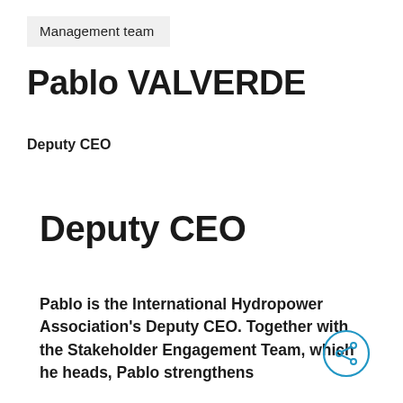Management team
Pablo VALVERDE
Deputy CEO
Deputy CEO
Pablo is the International Hydropower Association's Deputy CEO. Together with the Stakeholder Engagement Team, which he heads, Pablo strengthens